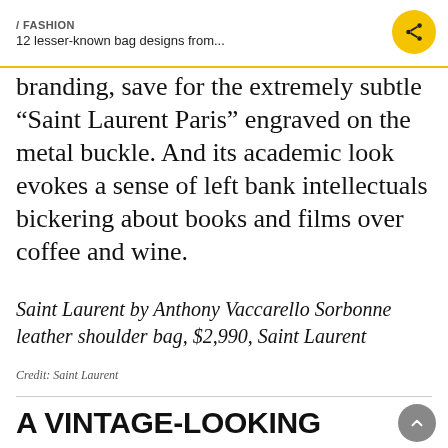/ FASHION
12 lesser-known bag designs from...
branding, save for the extremely subtle “Saint Laurent Paris” engraved on the metal buckle. And its academic look evokes a sense of left bank intellectuals bickering about books and films over coffee and wine.
Saint Laurent by Anthony Vaccarello Sorbonne leather shoulder bag, $2,990, Saint Laurent
Credit: Saint Laurent
A VINTAGE-LOOKING BUCKET BAG FROM CELINE